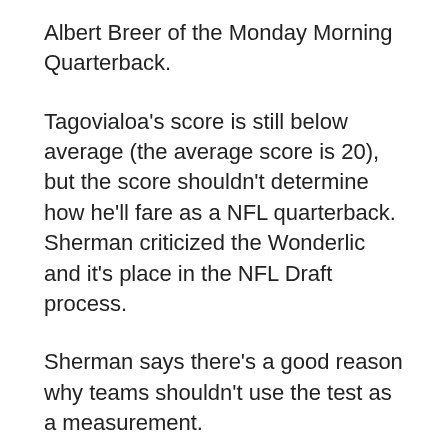Albert Breer of the Monday Morning Quarterback.
Tagovialoa's score is still below average (the average score is 20), but the score shouldn't determine how he'll fare as a NFL quarterback. Sherman criticized the Wonderlic and it's place in the NFL Draft process.
Sherman says there's a good reason why teams shouldn't use the test as a measurement.
All-Pro defensive end Cameron Jordan shared the same sentiments as Sherman, implying it's a tool to improve a player's draft stock. Jordan isn't incorrect in that assessment, as former Philadelphia Eagles defensive end Mike Mamula scored a 49 during the 1995 NFL Scouting Combine -- one which raised his draft stock into